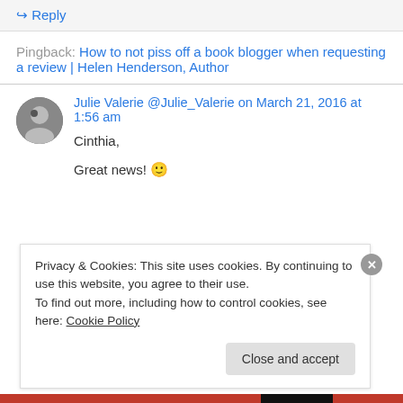↳ Reply
Pingback: How to not piss off a book blogger when requesting a review | Helen Henderson, Author
Julie Valerie @Julie_Valerie on March 21, 2016 at 1:56 am
Cinthia,
Great news! 🙂
Privacy & Cookies: This site uses cookies. By continuing to use this website, you agree to their use.
To find out more, including how to control cookies, see here: Cookie Policy
Close and accept